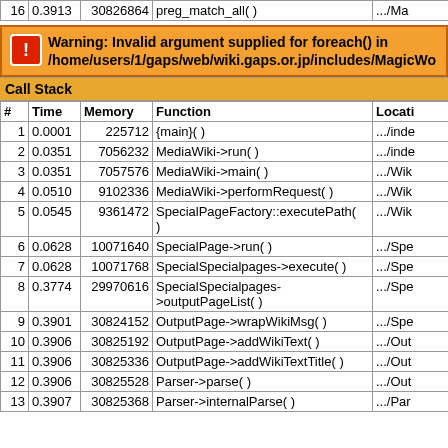| # | Time | Memory | Function | Location |
| --- | --- | --- | --- | --- |
| 16 | 0.3913 | 30826864 | preg_match_all( ) | .../Ma |
Warning: Invalid argument supplied for foreach() in /home/users/1/gaps/web/wiki.gaps.or.jp/includes/MagicWo
Call Stack
| # | Time | Memory | Function | Location |
| --- | --- | --- | --- | --- |
| 1 | 0.0001 | 225712 | {main}( ) | .../inde |
| 2 | 0.0351 | 7056232 | MediaWiki->run( ) | .../inde |
| 3 | 0.0351 | 7057576 | MediaWiki->main( ) | .../Wik |
| 4 | 0.0510 | 9102336 | MediaWiki->performRequest( ) | .../Wik |
| 5 | 0.0545 | 9361472 | SpecialPageFactory::executePath( ) | .../Wik |
| 6 | 0.0628 | 10071640 | SpecialPage->run( ) | .../Spe |
| 7 | 0.0628 | 10071768 | SpecialSpecialpages->execute( ) | .../Spe |
| 8 | 0.3774 | 29970616 | SpecialSpecialpages->outputPageList( ) | .../Spe |
| 9 | 0.3901 | 30824152 | OutputPage->wrapWikiMsg( ) | .../Spe |
| 10 | 0.3906 | 30825192 | OutputPage->addWikiText( ) | .../Out |
| 11 | 0.3906 | 30825336 | OutputPage->addWikiTextTitle( ) | .../Out |
| 12 | 0.3906 | 30825528 | Parser->parse( ) | .../Out |
| 13 | 0.3907 | 30825368 | Parser->internalParse( ) | .../Par |